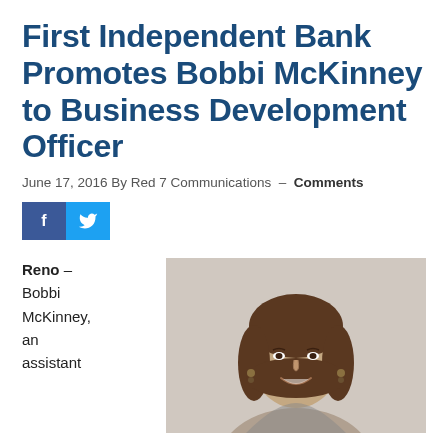First Independent Bank Promotes Bobbi McKinney to Business Development Officer
June 17, 2016 By Red 7 Communications — Comments
[Figure (other): Social media share buttons: Facebook (f) and Twitter (bird icon)]
Reno – Bobbi McKinney, an assistant
[Figure (photo): Photo of Bobbi McKinney, a woman with brown hair smiling, wearing earrings, against a light background]